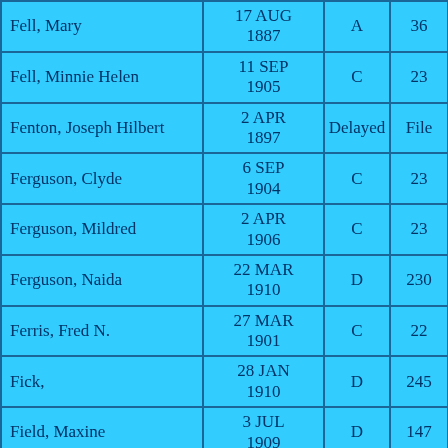| Fell, Mary | 17 AUG 1887 | A | 36 | 17 |
| Fell, Minnie Helen | 11 SEP 1905 | C | 23 | 17 |
| Fenton, Joseph Hilbert | 2 APR 1897 | Delayed | File |  |
| Ferguson, Clyde | 6 SEP 1904 | C | 23 | 9 |
| Ferguson, Mildred | 2 APR 1906 | C | 23 | 19 |
| Ferguson, Naida | 22 MAR 1910 | D | 230 |  |
| Ferris, Fred N. | 27 MAR 1901 | C | 22 | 10 |
| Fick, | 28 JAN 1910 | D | 245 |  |
| Field, Maxine | 3 JUL 1909 | D | 147 |  |
| Field, Ruth Severace | 11 MAR 1897 | B | 21 | 12 |
|  | 2 FEB ... |  |  |  |